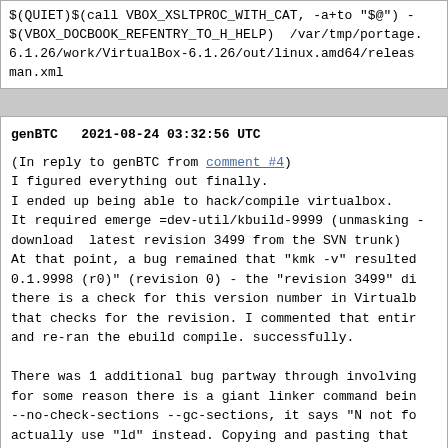$(QUIET)$(call VBOX_XSLTPROC_WITH_CAT, -a+to "$@") $(VBOX_DOCBOOK_REFENTRY_TO_H_HELP)  /var/tmp/portage.6.1.26/work/VirtualBox-6.1.26/out/linux.amd64/releas man.xml
genBTC   2021-08-24 03:32:56 UTC

(In reply to genBTC from comment #4)
I figured everything out finally.
I ended up being able to hack/compile virtualbox.
It required emerge =dev-util/kbuild-9999 (unmasking download  latest revision 3499 from the SVN trunk)
At that point, a bug remained that "kmk -v" resulted 0.1.9998 (r0)" (revision 0) - the "revision 3499" di there is a check for this version number in Virtualb that checks for the revision. I commented that entir and re-ran the ebuild compile. successfully.

There was 1 additional bug partway through involving for some reason there is a giant linker command bein --no-check-sections --gc-sections, it says "N not fo actually use "ld" instead. Copying and pasting that  running it with "ld", (also manually re-did the next shown as failing also), then re-ran the ebuild compi.

Then it worked!
Then:
ebuild install , ebuild qmerge.
Success!